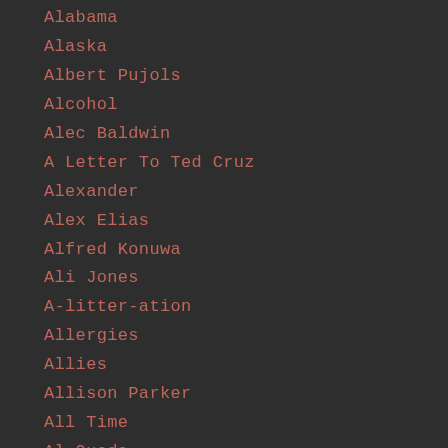Alabama
Alaska
Albert Pujols
Alcohol
Alec Baldwin
A Letter To Ted Cruz
Alexander
Alex Elias
Alfred Konuwa
Ali Jones
A-litter-ation
Allergies
Allies
Allison Parker
All Time
Al Queda
Alternative Facts
Alternatives
Alton
Alton Sterling
Al Watson